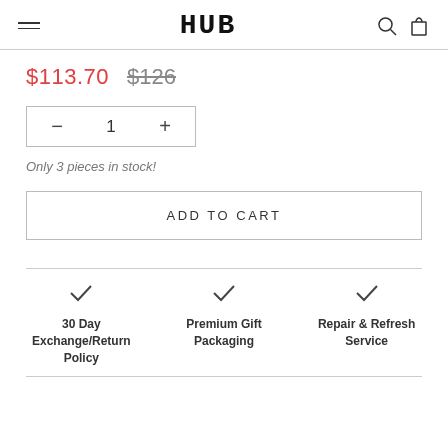HUB
$113.70  $126
- 1 +
Only 3 pieces in stock!
ADD TO CART
30 Day Exchange/Return Policy
Premium Gift Packaging
Repair & Refresh Service